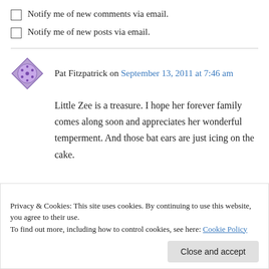Notify me of new comments via email.
Notify me of new posts via email.
Pat Fitzpatrick on September 13, 2011 at 7:46 am
Little Zee is a treasure. I hope her forever family comes along soon and appreciates her wonderful temperment. And those bat ears are just icing on the cake.
Privacy & Cookies: This site uses cookies. By continuing to use this website, you agree to their use. To find out more, including how to control cookies, see here: Cookie Policy
Close and accept
anywhere is huge: